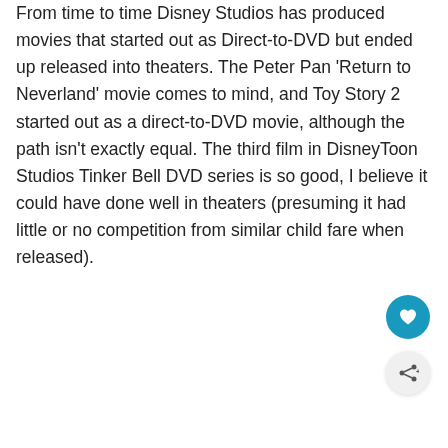From time to time Disney Studios has produced movies that started out as Direct-to-DVD but ended up released into theaters. The Peter Pan 'Return to Neverland' movie comes to mind, and Toy Story 2 started out as a direct-to-DVD movie, although the path isn't exactly equal. The third film in DisneyToon Studios Tinker Bell DVD series is so good, I believe it could have done well in theaters (presuming it had little or no competition from similar child fare when released).